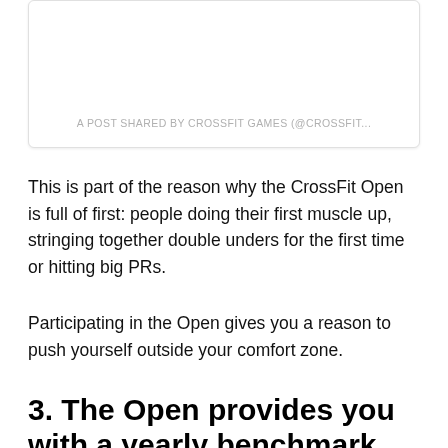[Figure (screenshot): Embedded social media post box with caption 'A POST SHARED BY CROSSFIT GAMES (@CROSSFIT...']
This is part of the reason why the CrossFit Open is full of first: people doing their first muscle up, stringing together double unders for the first time or hitting big PRs.
Participating in the Open gives you a reason to push yourself outside your comfort zone.
3. The Open provides you with a yearly benchmark
The Open is a yearly benchmark, where you can compare where you've improved and which areas you've let slip.